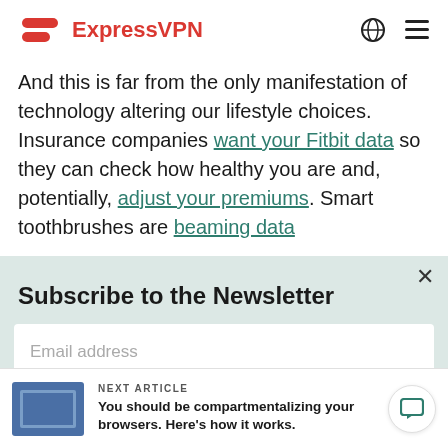ExpressVPN
And this is far from the only manifestation of technology altering our lifestyle choices. Insurance companies want your Fitbit data so they can check how healthy you are and, potentially, adjust your premiums. Smart toothbrushes are beaming data
Subscribe to the Newsletter
Email address
NEXT ARTICLE
You should be compartmentalizing your browsers. Here's how it works.